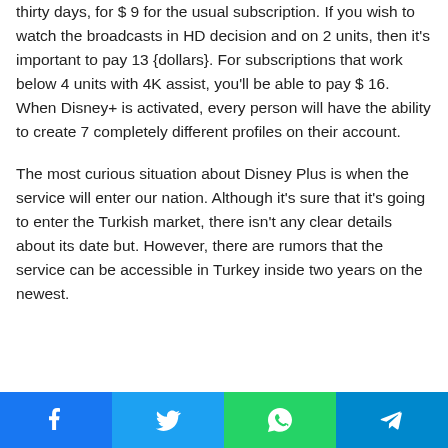thirty days, for $ 9 for the usual subscription. If you wish to watch the broadcasts in HD decision and on 2 units, then it's important to pay 13 {dollars}. For subscriptions that work below 4 units with 4K assist, you'll be able to pay $ 16. When Disney+ is activated, every person will have the ability to create 7 completely different profiles on their account.
The most curious situation about Disney Plus is when the service will enter our nation. Although it's sure that it's going to enter the Turkish market, there isn't any clear details about its date but. However, there are rumors that the service can be accessible in Turkey inside two years on the newest.
Facebook | Twitter | WhatsApp | Telegram